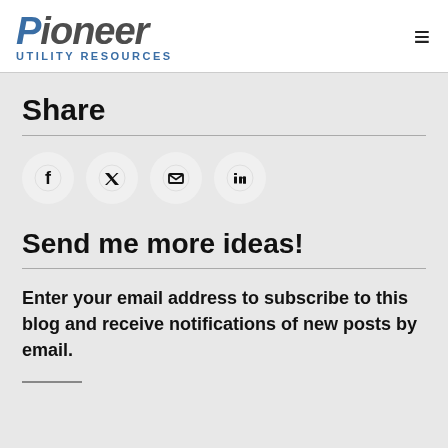Pioneer UTILITY RESOURCES
Share
[Figure (illustration): Four social share icon buttons in circles: Facebook, Twitter, Email, LinkedIn]
Send me more ideas!
Enter your email address to subscribe to this blog and receive notifications of new posts by email.